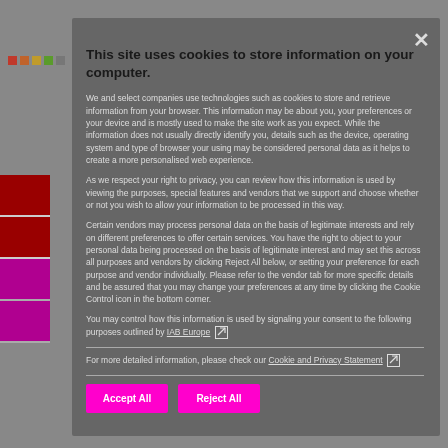[Figure (screenshot): Cookie consent modal dialog overlay on a grey website background with colored sidebar bars on the left]
This site uses cookies to store information on your computer.
We and select companies use technologies such as cookies to store and retrieve information from your browser. This information may be about you, your preferences or your device and is mostly used to make the site work as you expect. While the information does not usually directly identify you, details such as the device, operating system and type of browser your using may be considered personal data as it helps to create a more personalised web experience.
As we respect your right to privacy, you can review how this information is used by viewing the purposes, special features and vendors that we support and choose whether or not you wish to allow your information to be processed in this way.
Certain vendors may process personal data on the basis of legitimate interests and rely on different preferences to offer certain services. You have the right to object to your personal data being processed on the basis of legitimate interest and may set this across all purposes and vendors by clicking Reject All below, or setting your preference for each purpose and vendor individually. Please refer to the vendor tab for more specific details and be assured that you may change your preferences at any time by clicking the Cookie Control icon in the bottom corner.
You may control how this information is used by signaling your consent to the following purposes outlined by IAB Europe [external link]
For more detailed information, please check our Cookie and Privacy Statement [external link]